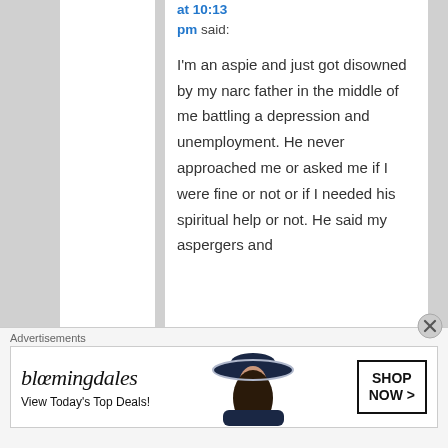at 10:13 pm said:
I'm an aspie and just got disowned by my narc father in the middle of me battling a depression and unemployment. He never approached me or asked me if I were fine or not or if I needed his spiritual help or not. He said my aspergers and
Advertisements
[Figure (screenshot): Bloomingdale's advertisement banner: logo text 'bloomingdales', tagline 'View Today's Top Deals!', image of woman with hat, button 'SHOP NOW >']